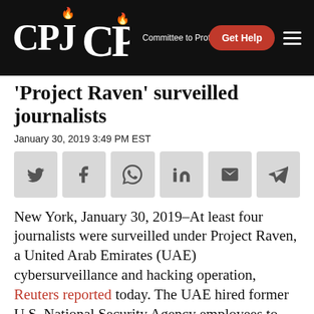CPJ – Committee to Protect Journalists | Get Help
'Project Raven' surveilled journalists
January 30, 2019 3:49 PM EST
[Figure (other): Social media share buttons: Twitter, Facebook, WhatsApp, LinkedIn, Email, Telegram]
New York, January 30, 2019–At least four journalists were surveilled under Project Raven, a United Arab Emirates (UAE) cybersurveillance and hacking operation, Reuters reported today. The UAE hired former U.S. National Security Agency employees to assist in deploying a